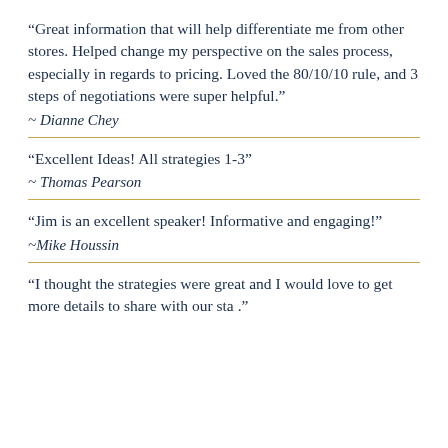“Great information that will help differentiate me from other stores. Helped change my perspective on the sales process, especially in regards to pricing. Loved the 80/10/10 rule, and 3 steps of negotiations were super helpful.”
~ Dianne Chey
“Excellent Ideas! All strategies 1-3”
~ Thomas Pearson
“Jim is an excellent speaker! Informative and engaging!”
~Mike Houssin
“I thought the strategies were great and I would love to get more details to share with our sta .